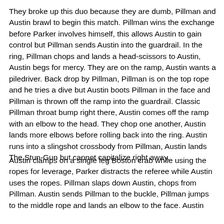They broke up this duo because they are dumb, Pillman and Austin brawl to begin this match. Pillman wins the exchange before Parker involves himself, this allows Austin to gain control but Pillman sends Austin into the guardrail. In the ring, Pillman chops and lands a head-scissors to Austin, Austin begs for mercy. They are on the ramp, Austin wants a piledriver. Back drop by Pillman, Pillman is on the top rope and he tries a dive but Austin boots Pillman in the face and Pillman is thrown off the ramp into the guardrail. Classic Pillman throat bump right there, Austin comes off the ramp with an elbow to the head. They chop one another, Austin lands more elbows before rolling back into the ring. Austin runs into a slingshot crossbody from Pillman, Austin lands The Stun-Gun but cannot capitalize right away.
Austin clamps on a single leg Boston crab while using the ropes for leverage, Parker distracts the referee while Austin uses the ropes. Pillman slaps down Austin, chops from Pillman. Austin sends Pillman to the buckle, Pillman jumps to the middle rope and lands an elbow to the face. Austin